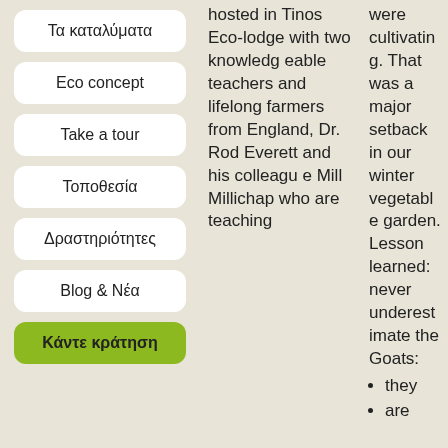Τα καταλύματα
Eco concept
Take a tour
Τοποθεσία
Δραστηριότητες
Blog & Νέα
Κάντε κράτηση
hosted in Tinos Eco-lodge with two knowledgeable teachers and lifelong farmers from England, Dr. Rod Everett and his colleague Mill Millichap who are teaching
were cultivating. That was a major setback in our winter vegetable garden. Lesson learned: never underestimate the Goats:
• they
• are